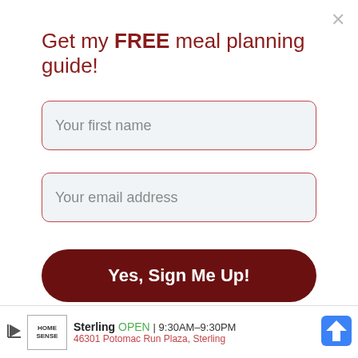Get my FREE meal planning guide!
Your first name
Your email address
Yes, Sign Me Up!
Replies
Life Tastes Good  September 25, 2014 at 11:35 AM
Thanks, Jen! It is a great cause, and I'm so thankful to OXO for having the chance to be a part of this wonderful campaign. Butternut squash is a good fit for those of us sensitive to the strong flavors of something I can eat without it.
Sterling OPEN | 9:30AM–9:30PM  46301 Potomac Run Plaza, Sterling